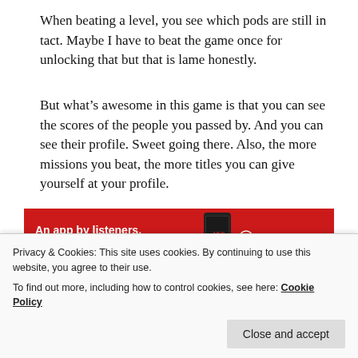When beating a level, you see which pods are still in tact. Maybe I have to beat the game once for unlocking that but that is lame honestly.
But what’s awesome in this game is that you can see the scores of the people you passed by. And you can see their profile. Sweet going there. Also, the more missions you beat, the more titles you can give yourself at your profile.
[Figure (infographic): Pocket Casts advertisement banner: red background with white text 'An app by listeners, for listeners.' and the Pocket Casts logo with a phone graphic.]
REPORT THIS AD
syncing. When somebody that you passed has beaten his
Privacy & Cookies: This site uses cookies. By continuing to use this website, you agree to their use.
To find out more, including how to control cookies, see here: Cookie Policy
Close and accept